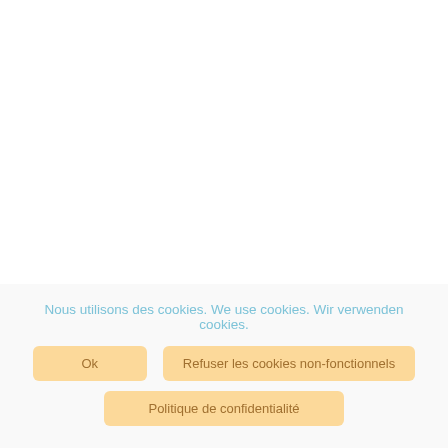Nous utilisons des cookies. We use cookies. Wir verwenden cookies.
Ok
Refuser les cookies non-fonctionnels
Politique de confidentialité